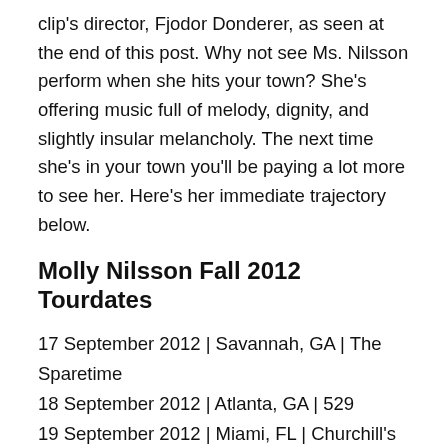clip's director, Fjodor Donderer, as seen at the end of this post. Why not see Ms. Nilsson perform when she hits your town? She's offering music full of melody, dignity, and slightly insular melancholy. The next time she's in your town you'll be paying a lot more to see her. Here's her immediate trajectory below.
Molly Nilsson Fall 2012 Tourdates
17 September 2012 | Savannah, GA | The Sparetime
18 September 2012 | Atlanta, GA | 529
19 September 2012 | Miami, FL | Churchill's Pub
21 September 2012 | Orlando, FL | Will's Pub
26 September 2012 | Lawrence, KS | SeedCo Studios
27 September 2012 | Kansas City, MO | KAW Collective
29 September 2012 | Minneapolis, MN | First Avenue &